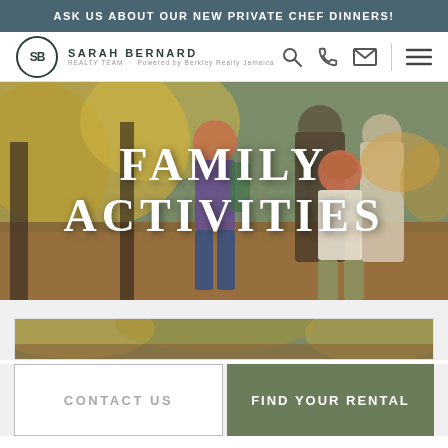ASK US ABOUT OUR NEW PRIVATE CHEF DINNERS!
[Figure (logo): Sarah Bernard Realty Team logo with circular SB monogram and text]
[Figure (photo): Family hiking in autumn forest — two children running on a trail with fall foliage]
FAMILY ACTIVITIES
[Figure (photo): Partial preview of a card image showing trees/nature scene]
CONTACT US
FIND YOUR RENTAL